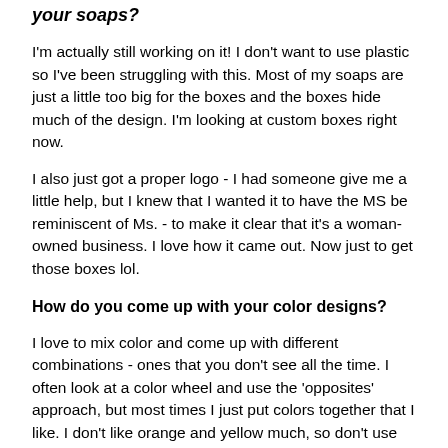your soaps?
I'm actually still working on it!  I don't want to use plastic so I've been struggling with this.  Most of my soaps are just a little too big for the boxes and the boxes hide much of the design.  I'm looking at custom boxes right now.
I also just got a proper logo - I had someone give me a little help, but I knew that I wanted it to have the MS be reminiscent of Ms. - to make it clear that it's a woman-owned business.  I love how it came out.  Now just to get those boxes lol.
How do you come up with your color designs?
I love to mix color and come up with different combinations - ones that you don't see all the time.  I often look at a color wheel and use the 'opposites' approach, but most times I just put colors together that I like.  I don't like orange and yellow much, so don't use them in my soaps very much either.  I gravitate toward bold, bright colors